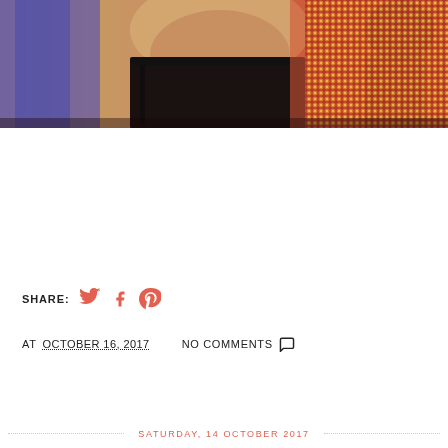[Figure (photo): Close-up photo of people at an event; one person wearing a black lace top with a deep neckline, purple and red/orange garments visible, and a sparkly red/gold sequined outfit on the right side.]
SHARE: [twitter] [facebook] [pinterest]
AT OCTOBER 16, 2017   NO COMMENTS
SATURDAY, 14 OCTOBER 2017